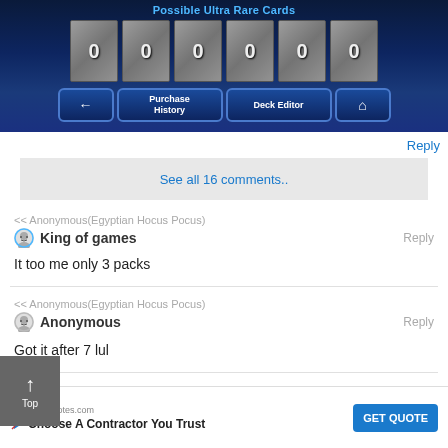[Figure (screenshot): Screenshot of a Yu-Gi-Oh mobile game showing 'Possible Ultra Rare Cards' with 6 card slots all showing 0, and navigation buttons: back arrow, Purchase History, Deck Editor, and Home]
Reply
See all 16 comments..
<< Anonymous(Egyptian Hocus Pocus)
King of games
It too me only 3 packs
Reply
<< Anonymous(Egyptian Hocus Pocus)
Anonymous
Got it after 7 lul
Reply
<<
[Figure (screenshot): Advertisement for localdeckquotes.com - Choose A Contractor You Trust with GET QUOTE button]